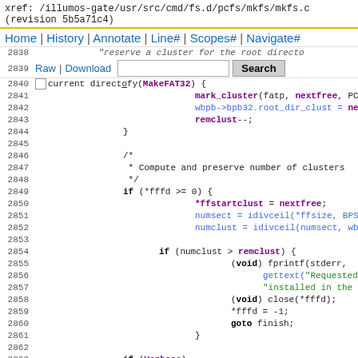xref: /illumos-gate/usr/src/cmd/fs.d/pcfs/mkfs/mkfs.c
(revision 5b5a71c4)
Home | History | Annotate | Line# | Scopes# | Navigate#
2838 ... reserve a cluster for the root director
2839 Raw | Download  [Search]
[Figure (screenshot): Source code viewer showing C code from mkfs.c lines 2840-2863 with syntax highlighting]
2840  current directory(MakeFAT32) {
2841    mark_cluster(fatp, nextfree, PCF_
2842    wbpb->bpb32.root_dir_clust = nextt
2843    remclust--;
2844  }
2845  
2846    /*
2847     * Compute and preserve number of clusters
2848     */
2849    if (*fffd >= 0) {
2850      *ffstartclust = nextfree;
2851      numsect = idivceil(*ffsize, BPSEC
2852      numclust = idivceil(numsect, wbpb
2853  
2854      if (numclust > remclust) {
2855          (void) fprintf(stderr,
2856              gettext("Requested fi
2857              "installed in the new
2858          (void) close(*fffd);
2859          *fffd = -1;
2860          goto finish;
2861      }
2862  
2863    if (Verbose)